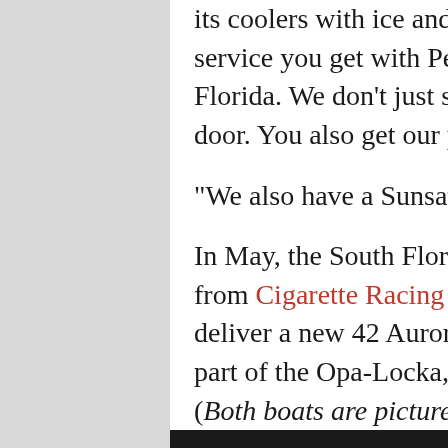its coolers with ice and ice water. That's the kind of service you get with Performance Boat Center of South Florida. We don't just sell you a boat and kick you out the door. You also get our personal attention.
“We also have a Sunsation 40 CCX on order,” she added.
In May, the South Florida outfit delivered a 59 Tirranna from Cigarette Racing Team. Next week, Doller will deliver a new 42 Auroris, which like the 59 Tirranna is part of the Opa-Locka, Fla., company’s HyperLux series. (Both boats are pictured immediately above.)
The Performance Boat Center of